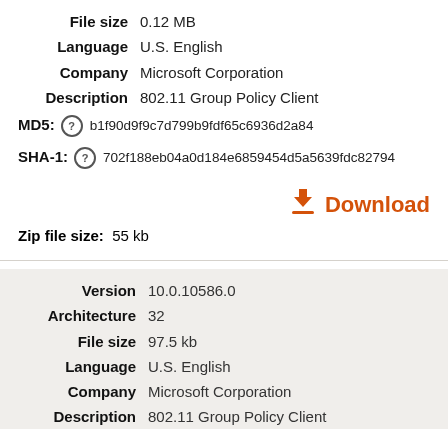File size  0.12 MB
Language  U.S. English
Company  Microsoft Corporation
Description  802.11 Group Policy Client
MD5:  b1f90d9f9c7d799b9fdf65c6936d2a84
SHA-1:  702f188eb04a0d184e6859454d5a5639fdc82794
Download
Zip file size:  55 kb
Version  10.0.10586.0
Architecture  32
File size  97.5 kb
Language  U.S. English
Company  Microsoft Corporation
Description  802.11 Group Policy Client